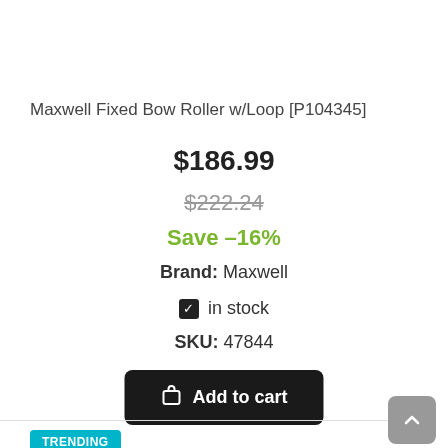Maxwell Fixed Bow Roller w/Loop [P104345]
$186.99
$222.24
Save –16%
Brand: Maxwell
✔ in stock
SKU: 47844
Add to cart
TRENDING